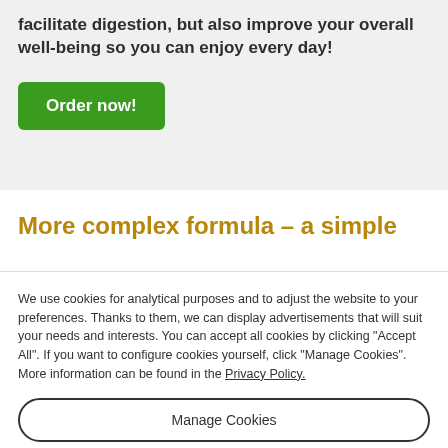facilitate digestion, but also improve your overall well-being so you can enjoy every day!
Order now!
More complex formula – a simple
We use cookies for analytical purposes and to adjust the website to your preferences. Thanks to them, we can display advertisements that will suit your needs and interests. You can accept all cookies by clicking "Accept All". If you want to configure cookies yourself, click "Manage Cookies". More information can be found in the Privacy Policy.
Manage Cookies
Accept All